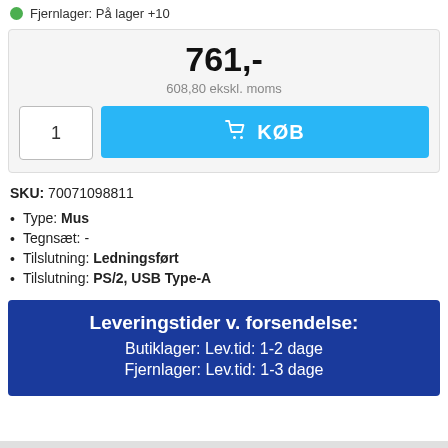Fjernlager: På lager +10
761,-
608,80 ekskl. moms
1  KØB
SKU: 70071098811
Type: Mus
Tegnsæt: -
Tilslutning: Ledningsført
Tilslutning: PS/2, USB Type-A
Leveringstider v. forsendelse:
Butiklager: Lev.tid: 1-2 dage
Fjernlager: Lev.tid: 1-3 dage